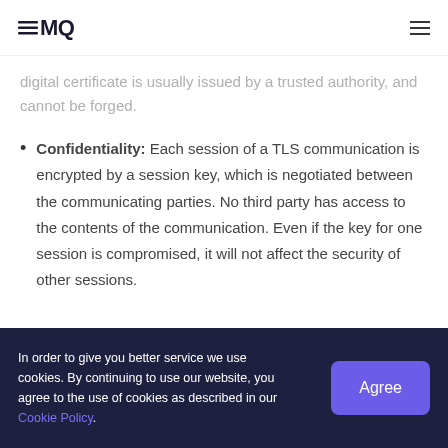EMQ
digital certificate is usually issued by a trusted authority, and cannot be forged.
Confidentiality: Each session of a TLS communication is encrypted by a session key, which is negotiated between the communicating parties. No third party has access to the contents of the communication. Even if the key for one session is compromised, it will not affect the security of other sessions.
In order to give you better service we use cookies. By continuing to use our website, you agree to the use of cookies as described in our Cookie Policy.